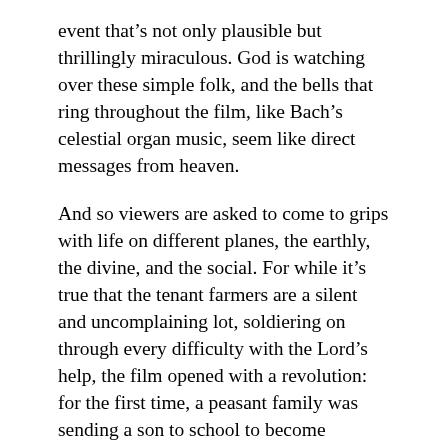event that's not only plausible but thrillingly miraculous. God is watching over these simple folk, and the bells that ring throughout the film, like Bach's celestial organ music, seem like direct messages from heaven.
And so viewers are asked to come to grips with life on different planes, the earthly, the divine, and the social. For while it's true that the tenant farmers are a silent and uncomplaining lot, soldiering on through every difficulty with the Lord's help, the film opened with a revolution: for the first time, a peasant family was sending a son to school to become educated. This apparently small gesture set in motion an upheaval in the community that is